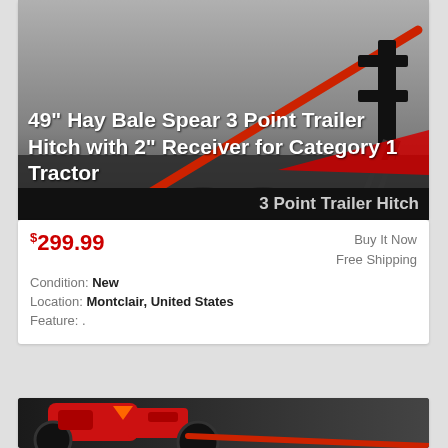[Figure (photo): Product photo of a 49-inch hay bale spear 3-point trailer hitch with red diagonal bar and black mounting hardware on grey background, with title text overlay and black banner reading '3 Point Trailer Hitch']
$299.99
Buy It Now
Free Shipping
Condition: New
Location: Montclair, United States
Feature: .
[Figure (photo): Product photo of a red tractor with hay bale spear attachment, showing the front/side view with large black tires and orange markings]